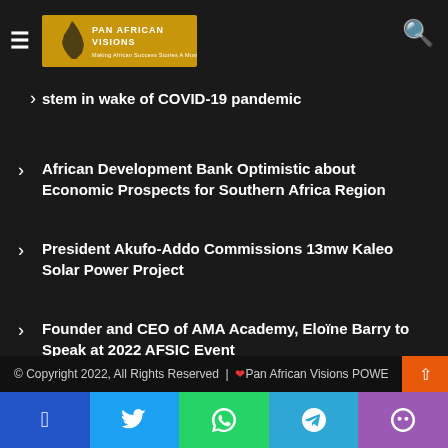Pan African Visions — header with logo and search
Defeat In The Hands Of Malawi (partial, cut off at top)
...stem in wake of COVID-19 pandemic (partial)
African Development Bank Optimistic about Economic Prospects for Southern Africa Region
President Akufo-Addo Commissions 13mw Kaleo Solar Power Project
Founder and CEO of AMA Academy, Eloïne Barry to Speak at 2022 AFSIC Event
Newsletter
© Copyright 2022, All Rights Reserved | ❤ Pan African Visions POWE...